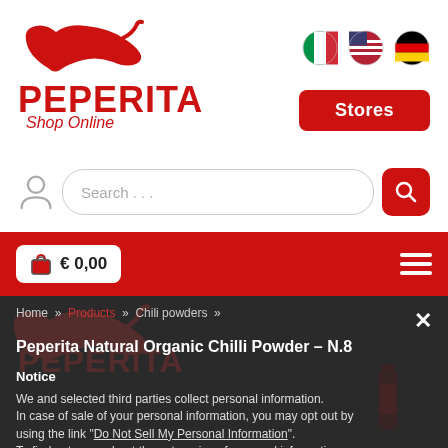[Figure (logo): Peperita chili pepper logo with brand name and Shop Online tagline]
[Figure (other): Language selector flags: Italian, US English, German]
[Figure (other): Stores button (red)]
[Figure (other): Search bar with user icon and search button]
[Figure (other): Red navigation bar with cart total €0,00 and hamburger menu]
Home » Products » Chili powders » Peperita Natural Organic Chilli Powder – N.8
Notice
We and selected third parties collect personal information. In case of sale of your personal information, you may opt out by using the link "Do Not Sell My Personal Information". To find out more about the categories of personal information collected and the purposes for which such information will be used, please refer to our privacy policy.